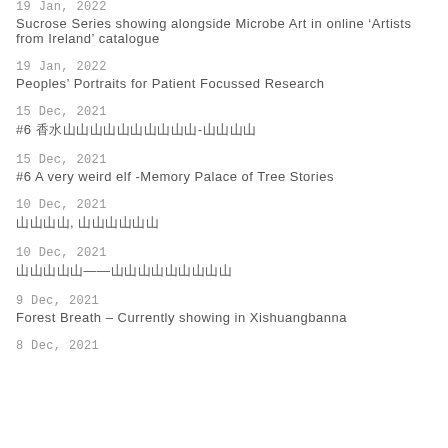19 Jan, 2022
Sucrose Series showing alongside Microbe Art in online ‘Artists from Ireland’ catalogue
19 Jan, 2022
Peoples’ Portraits for Patient Focussed Research
15 Dec, 2021
#6 香水山山山山山山山山山山-山山山山
15 Dec, 2021
#6 A very weird elf -Memory Palace of Tree Stories
10 Dec, 2021
山山山山, 山山山山山山
10 Dec, 2021
山山山山山——山山山山山山山山山
9 Dec, 2021
Forest Breath – Currently showing in Xishuangbanna
8 Dec, 2021